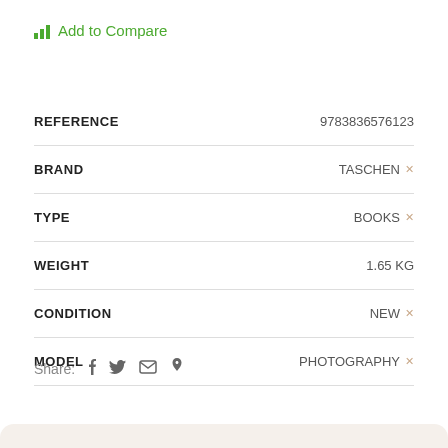Add to Compare
| Attribute | Value |
| --- | --- |
| REFERENCE | 9783836576123 |
| BRAND | TASCHEN |
| TYPE | BOOKS |
| WEIGHT | 1.65 KG |
| CONDITION | NEW |
| MODEL | PHOTOGRAPHY |
Share: f  Twitter  Email  Pinterest